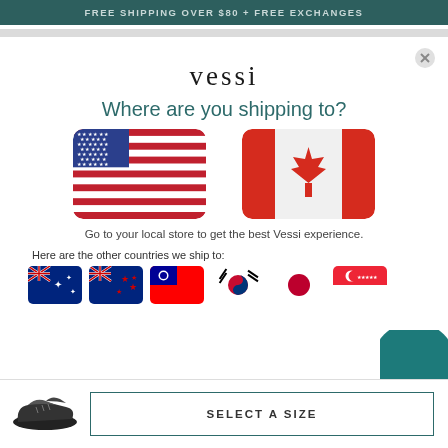FREE SHIPPING OVER $80 + FREE EXCHANGES
vessi
Where are you shipping to?
[Figure (illustration): US flag (rounded rectangle) and Canadian flag (rounded rectangle) side by side]
Go to your local store to get the best Vessi experience.
Here are the other countries we ship to:
[Figure (illustration): Six small flag icons: Australia, New Zealand, Taiwan, South Korea, Japan, Singapore]
[Figure (illustration): Teal circle partially visible at bottom right]
[Figure (illustration): Black sneaker shoe image at bottom left]
SELECT A SIZE